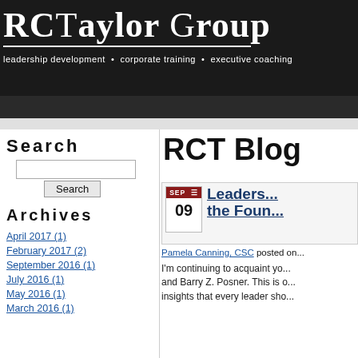RCTaylor Group
leadership development • corporate training • executive coaching
Search
Archives
April 2017 (1)
February 2017 (2)
September 2016 (1)
July 2016 (1)
May 2016 (1)
March 2016 (1)
RCT Blog
SEP 09 Leaders... the Foun...
Pamela Canning, CSC posted on...
I'm continuing to acquaint yo... and Barry Z. Posner. This is o... insights that every leader sho...